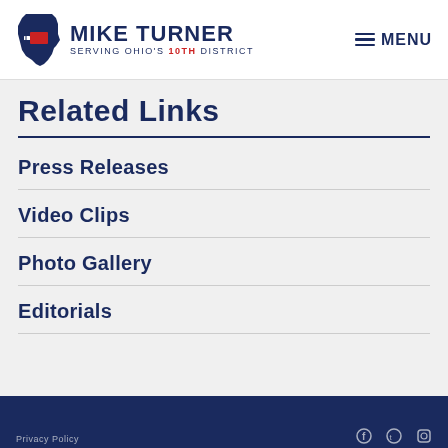MIKE TURNER — SERVING OHIO'S 10TH DISTRICT — MENU
Related Links
Press Releases
Video Clips
Photo Gallery
Editorials
Privacy Policy